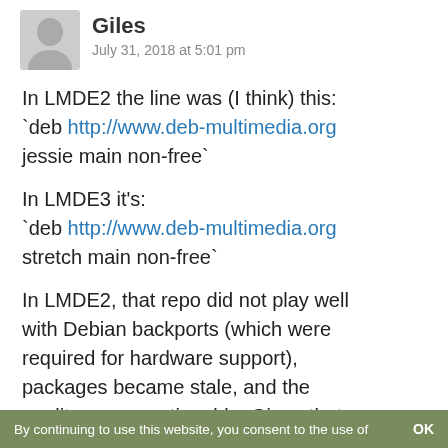[Figure (illustration): Gray silhouette avatar icon of a person]
Giles
July 31, 2018 at 5:01 pm
In LMDE2 the line was (I think) this:
`deb http://www.deb-multimedia.org jessie main non-free`
In LMDE3 it's:
`deb http://www.deb-multimedia.org stretch main non-free`
In LMDE2, that repo did not play well with Debian backports (which were required for hardware support), packages became stale, and the quality was questionable. Given that most of the packages are now in Debian I think it's pretty much
By continuing to use this website, you consent to the use of    OK